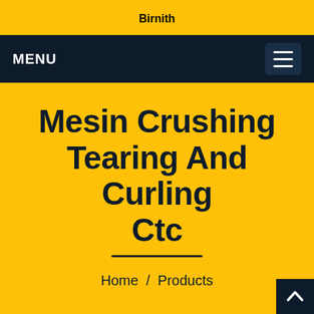Birnith
MENU
Mesin Crushing Tearing And Curling Ctc
Home / Products